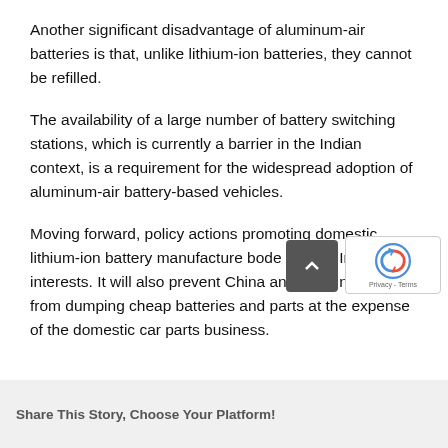Another significant disadvantage of aluminum-air batteries is that, unlike lithium-ion batteries, they cannot be refilled.
The availability of a large number of battery switching stations, which is currently a barrier in the Indian context, is a requirement for the widespread adoption of aluminum-air battery-based vehicles.
Moving forward, policy actions promoting domestic lithium-ion battery manufacture bode well for India's interests. It will also prevent China and other nations from dumping cheap batteries and parts at the expense of the domestic car parts business.
[Figure (other): Dark grey rounded square button with an upward-pointing chevron arrow (back-to-top button)]
Share This Story, Choose Your Platform!